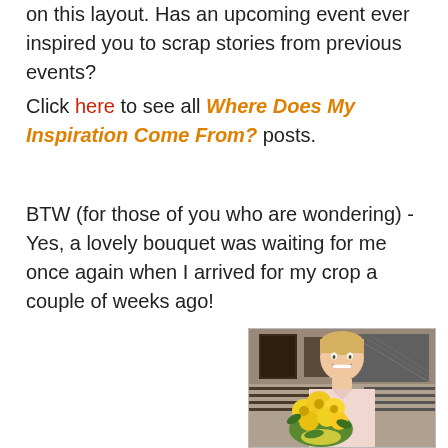on this layout. Has an upcoming event ever inspired you to scrap stories from previous events?
Click here to see all Where Does My Inspiration Come From? posts.
BTW (for those of you who are wondering) - Yes, a lovely bouquet was waiting for me once again when I arrived for my crop a couple of weeks ago!
[Figure (photo): A smiling woman with short blonde hair holding a large yellow flower bouquet with roses and tulips, standing in what appears to be a craft store. She is wearing a light pink top.]